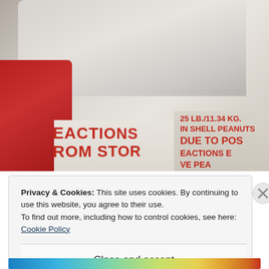[Figure (photo): Photo showing a person in a red shirt next to cardboard boxes. One box is labeled '25 LB./11.34 KG. IN SHELL PEANUTS' and has text reading 'DUE TO POS... ACTIONS... VE PEA...' and 'EACTIONS FROM STOR...' in red lettering. A clear plastic bag is visible at the top.]
Privacy & Cookies: This site uses cookies. By continuing to use this website, you agree to their use.
To find out more, including how to control cookies, see here: Cookie Policy
Close and accept